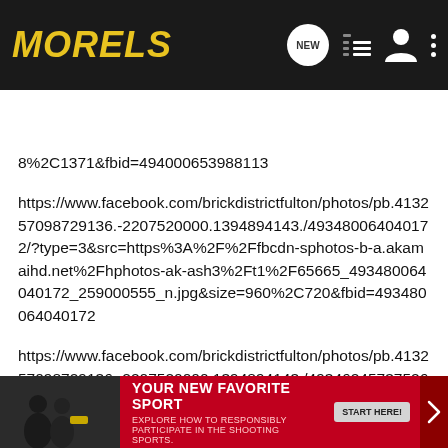MORELS — app navigation header with search bar
8%2C1371&fbid=494000653988113
https://www.facebook.com/brickdistrictfulton/photos/pb.413257098729136.-2207520000.1394894143./493480064040172/?type=3&src=https%3A%2F%2Ffbcdn-sphotos-b-a.akamaihd.net%2Fhphotos-ak-ash3%2Ft1%2F65665_493480064040172_259000555_n.jpg&size=960%2C720&fbid=493480064040172
https://www.facebook.com/brickdistrictfulton/photos/pb.413257098729136.-2207520000.1394894143./493462457375266/?type=3&src=https%3A%2F%2Ffbcdn-sphotos-d-a.akamaihd.net%2Fhphotos-ak-prn1%2Ft1.0-9%2F93... ize=960%2C72...
[Figure (photo): Advertisement banner: dark photo of people on left, red background with text YOUR NEW FAVORITE SPORT, EXPLORE HOW TO RESPONSIBLY PARTICIPATE IN THE SHOOTING SPORTS. START HERE! button]